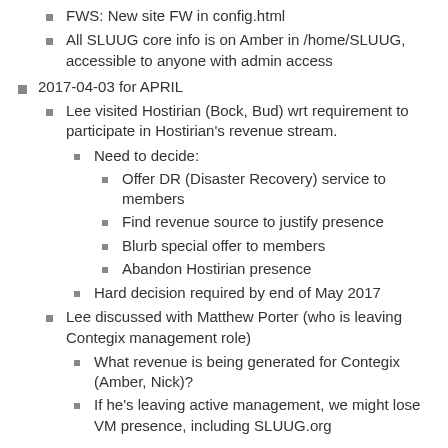FWS: New site FW in config.html
All SLUUG core info is on Amber in /home/SLUUG, accessible to anyone with admin access
2017-04-03 for APRIL
Lee visited Hostirian (Bock, Bud) wrt requirement to participate in Hostirian's revenue stream.
Need to decide:
Offer DR (Disaster Recovery) service to members
Find revenue source to justify presence
Blurb special offer to members
Abandon Hostirian presence
Hard decision required by end of May 2017
Lee discussed with Matthew Porter (who is leaving Contegix management role)
What revenue is being generated for Contegix (Amber, Nick)?
If he's leaving active management, we might lose VM presence, including SLUUG.org